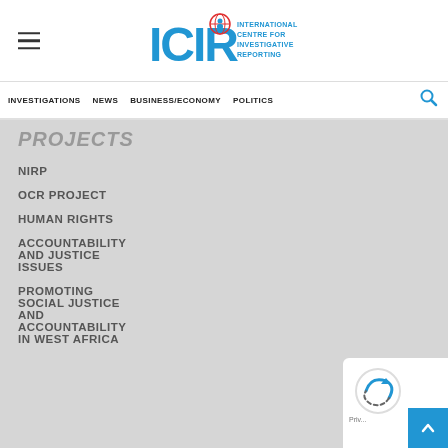ICIR - International Centre for Investigative Reporting
INVESTIGATIONS | NEWS | BUSINESS/ECONOMY | POLITICS
Projects
NIRP
OCR PROJECT
HUMAN RIGHTS
ACCOUNTABILITY AND JUSTICE ISSUES
PROMOTING SOCIAL JUSTICE AND ACCOUNTABILITY IN WEST AFRICA